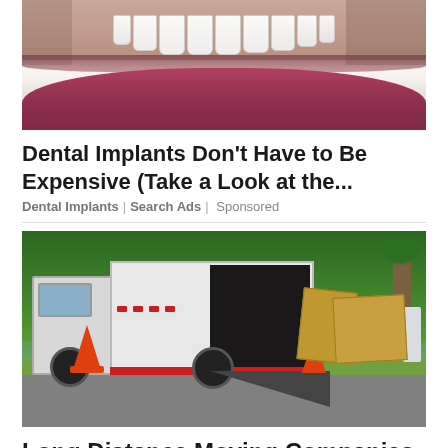[Figure (photo): Close-up photo of a person's smile showing white teeth and lips]
Dental Implants Don't Have to Be Expensive (Take a Look at the...
Dental Implants | Search Ads | Sponsored
[Figure (photo): Moving truck with ramp extended, boxes on the lawn, traffic cones, tropical greenery in background]
Long Distance Moving Companies In Ashburn